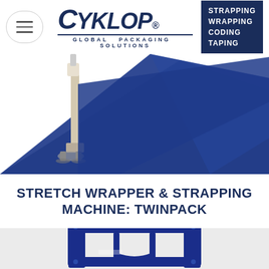[Figure (logo): Cyklop Global Packaging Solutions logo with tagbox listing STRAPPING WRAPPING CODING TAPING]
[Figure (photo): Stretch wrapper machine with blue film/sheet spread out on floor, machine arm visible]
STRETCH WRAPPER & STRAPPING MACHINE: TWINPACK
[Figure (photo): Blue strapping machine (Twinpack) shown from front, partially cropped at bottom of page]